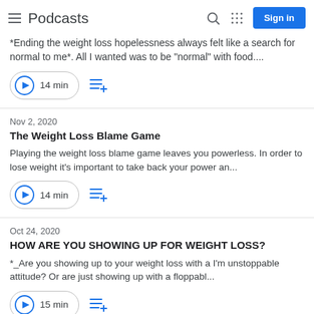Podcasts
*Ending the weight loss hopelessness always felt like a search for normal to me*. All I wanted was to be "normal" with food....
14 min
Nov 2, 2020
The Weight Loss Blame Game
Playing the weight loss blame game leaves you powerless. In order to lose weight it's important to take back your power an...
14 min
Oct 24, 2020
HOW ARE YOU SHOWING UP FOR WEIGHT LOSS?
*_Are you showing up to your weight loss with a I'm unstoppable attitude? Or are just showing up with a floppabl...
15 min